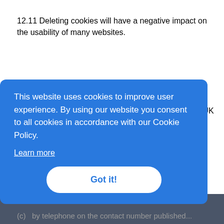12.11 Deleting cookies will have a negative impact on the usability of many websites.
Data protection registration
13.1  We are registered as a data controller with the UK Information Commissioner's Office.
13.2  This website is owned and operated by Miller Reeves.
[Figure (screenshot): Cookie consent banner overlay with blue background. Text reads: 'This website uses cookies to improve user experience. By using our website you consent to all cookies in accordance with our Cookie Policy.' with a 'Learn more' underlined link and a 'Got it!' button.]
(c)  by telephone on the contact number published...